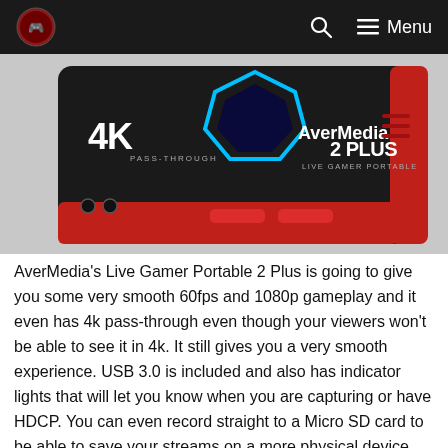Navigation bar with logo, search icon, and Menu
[Figure (photo): AverMedia Live Gamer Portable 2 Plus capture card, black and red device with 4K PASS-THROUGH label and blue LED lighting, showing front ports and top buttons]
AverMedia's Live Gamer Portable 2 Plus is going to give you some very smooth 60fps and 1080p gameplay and it even has 4k pass-through even though your viewers won't be able to see it in 4k. It still gives you a very smooth experience. USB 3.0 is included and also has indicator lights that will let you know when you are capturing or have HDCP. You can even record straight to a Micro SD card to be able to save your streams on a more physical device. This capture card works straight